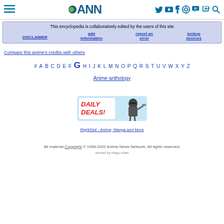ANN - Anime News Network header with navigation icons
This encyclopedia is collaboratively edited by the users of this site
DISCLAIMER | add information | report an error | lookup sources
Compare this anime's credits with others
# A B C D E F G H I J K L M N O P Q R S T U V W X Y Z
Anime anthology
[Figure (illustration): Daily Deals banner ad with ninja character for RightStuf - Anime, Manga and More]
RightStuf - Anime, Manga and More
All material Copyright © 1998-2022 Anime News Network. All rights reserved. served by mayu-chan